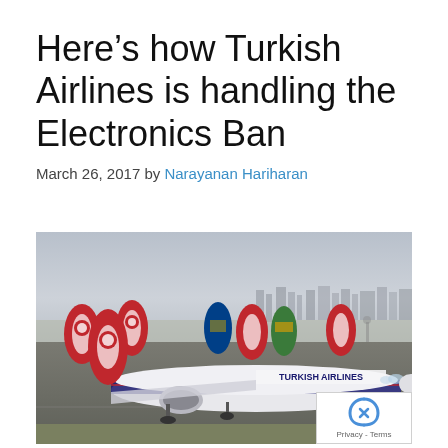Here’s how Turkish Airlines is handling the Electronics Ban
March 26, 2017 by Narayanan Hariharan
[Figure (photo): Turkish Airlines aircraft on airport tarmac with multiple red-tailed planes in background and a Turkish Airlines Boeing 777 Barcelona FC livery in foreground, taken at an airport with city skyline in background.]